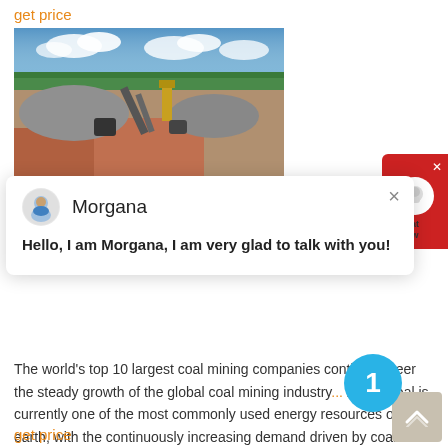get price
[Figure (photo): Aerial view of a coal mining / stone crushing facility with machinery, conveyor belts, gravel piles, and orange soil, surrounded by palm trees under a blue cloudy sky.]
Morgana
Hello, I am Morgana, I am very glad to talk with you!
The world's top 10 largest coal mining companies continu... steer the steady growth of the global coal mining industry... 2020. Coal is currently one of the most commonly used energy resources on earth, with the continuously increasing demand driven by coal requirements for several purposes and rise in electricity generation at large, many world's largest coal mining companies are
get price